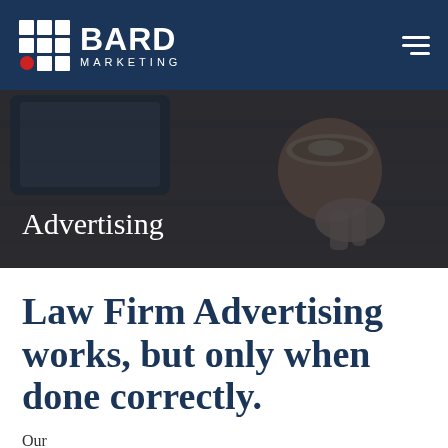[Figure (logo): Bard Marketing logo with grid icon and company name in white on dark navy background]
[Figure (photo): Hero image showing a person holding a coffee cup and a smartphone on a wooden table, overlaid with dark tint, with 'Advertising' text overlay]
Law Firm Advertising works, but only when done correctly.
Our